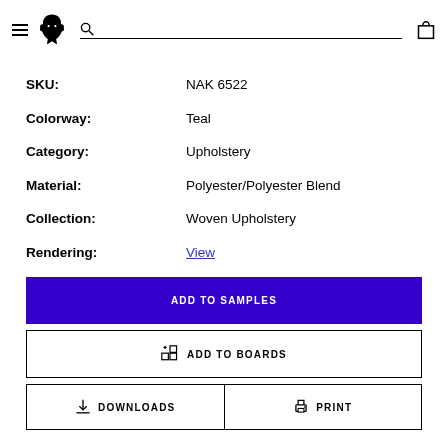Navigation header with hamburger menu, wolf logo, search bar, and cart icon
SKU: NAK 6522
Colorway: Teal
Category: Upholstery
Material: Polyester/Polyester Blend
Collection: Woven Upholstery
Rendering: View
ADD TO SAMPLES
ADD TO BOARDS
DOWNLOADS
PRINT